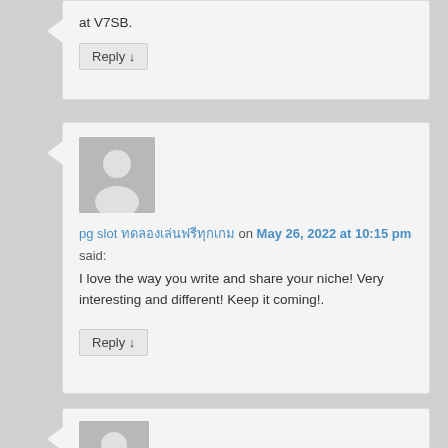at V7SB.
Reply ↓
pg slot ทดลองเล่นฟรีทุกเกม on May 26, 2022 at 10:15 pm said:
I love the way you write and share your niche! Very interesting and different! Keep it coming!.
Reply ↓